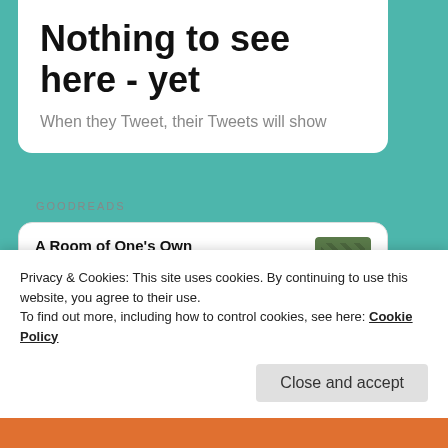Nothing to see here - yet
When they Tweet, their Tweets will show
GOODREADS
A Room of One's Own
by Virginia Woolf
Subtly Worded
by Teffi
Privacy & Cookies: This site uses cookies. By continuing to use this website, you agree to their use.
To find out more, including how to control cookies, see here: Cookie Policy
Close and accept